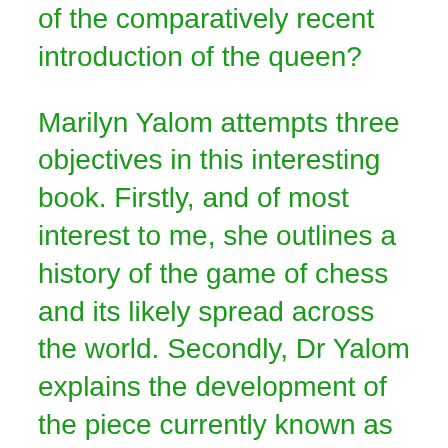of the comparatively recent introduction of the queen?
Marilyn Yalom attempts three objectives in this interesting book. Firstly, and of most interest to me, she outlines a history of the game of chess and its likely spread across the world. Secondly, Dr Yalom explains the development of the piece currently known as the queen in most European chess play both in terms of its replacement of earlier pieces, and its emerging power. Finally, Dr Yalom makes a case for parallels between the emergence of the power of the chess queen and the rise of powerful female sovereigns in Europe.
While I am attracted to the notion of the role of the chess queen as a reflection of the rise of strong queens (such as Isabella of Castile), and a possible association with the cult of the Virgin Mary, this is of peripheral interest to me.